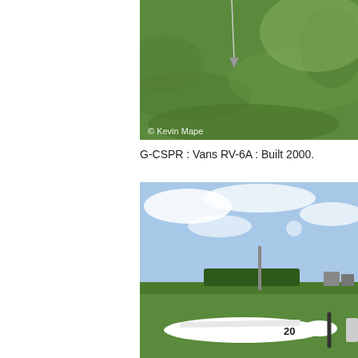[Figure (photo): Aerial or ground-level photo of a green grassy field with a small aircraft or tow line/anchor visible. White rope or tow line hangs from above. Copyright watermark reads '© Kevin Mape' in bottom left of the image.]
G-CSPR : Vans RV-6A : Built 2000.
[Figure (photo): Ground-level photo at an airfield showing a white light aircraft with the number '20' visible on the fuselage. Blue sky with clouds in background, trees and airfield buildings visible. Another aircraft partially visible on the right edge.]